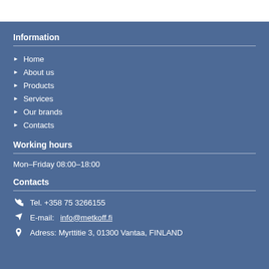Information
Home
About us
Products
Services
Our brands
Contacts
Working hours
Mon–Friday 08:00–18:00
Contacts
Tel. +358 75 3266155
E-mail: info@metkoff.fi
Adress: Myrttitie 3, 01300 Vantaa, FINLAND